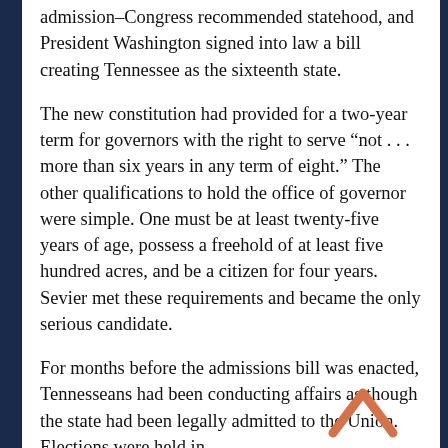admission–Congress recommended statehood, and President Washington signed into law a bill creating Tennessee as the sixteenth state.
The new constitution had provided for a two-year term for governors with the right to serve “not . . . more than six years in any term of eight.” The other qualifications to hold the office of governor were simple. One must be at least twenty-five years of age, possess a freehold of at least five hundred acres, and be a citizen for four years. Sevier met these requirements and became the only serious candidate.
For months before the admissions bill was enacted, Tennesseans had been conducting affairs as though the state had been legally admitted to the Union. Elections were held in